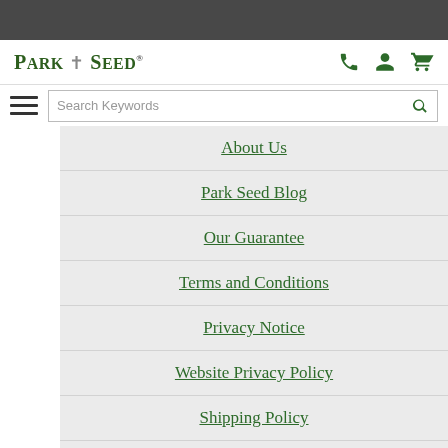Park Seed — navigation header with logo, search bar, and icons
About Us
Park Seed Blog
Our Guarantee
Terms and Conditions
Privacy Notice
Website Privacy Policy
Shipping Policy
California Consumer Privacy Act